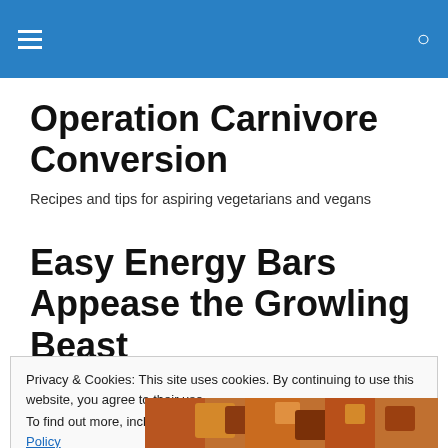Operation Carnivore Conversion — navigation header with hamburger menu and search icon
Operation Carnivore Conversion
Recipes and tips for aspiring vegetarians and vegans
Easy Energy Bars Appease the Growling Beast
Privacy & Cookies: This site uses cookies. By continuing to use this website, you agree to their use.
To find out more, including how to control cookies, see here: Cookie Policy
Close and accept
[Figure (photo): Photo of energy bars or food, partially visible at bottom of page]